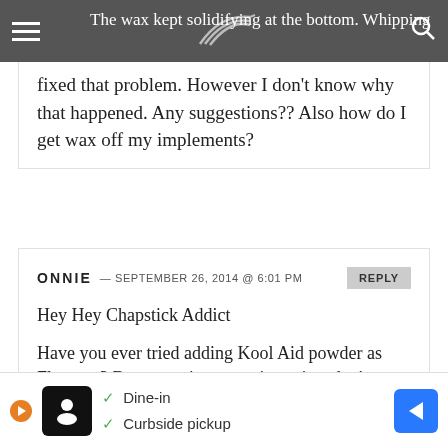The wax kept solidifying at the bottom. Whipping fixed that problem.
fixed that problem. However I don't know why that happened. Any suggestions?? Also how do I get wax off my implements?
ONNIE — SEPTEMBER 26, 2014 @ 6:01 PM
Hey Hey Chapstick Addict
Have you ever tried adding Kool Aid powder as Flavours? Been wanting to try it out just don't know much about it
THANKS for what looks like an Awesome
[Figure (infographic): Advertisement banner showing restaurant options: Dine-in and Curbside pickup with icons]